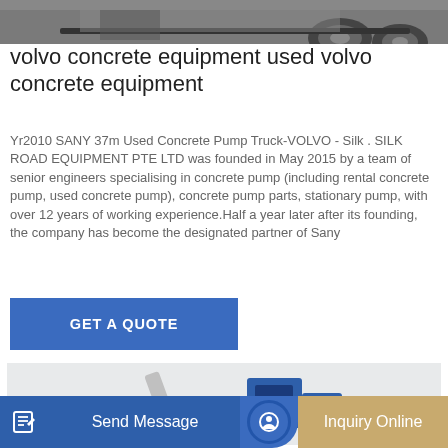[Figure (photo): Top portion of a concrete pump truck or heavy equipment, showing wheels and undercarriage against a light background.]
volvo concrete equipment used volvo concrete equipment
Yr2010 SANY 37m Used Concrete Pump Truck-VOLVO - Silk . SILK ROAD EQUIPMENT PTE LTD was founded in May 2015 by a team of senior engineers specialising in concrete pump (including rental concrete pump, used concrete pump), concrete pump parts, stationary pump, with over 12 years of working experience.Half a year later after its founding, the company has become the designated partner of Sany
[Figure (other): Blue and grey call-to-action button reading GET A QUOTE]
[Figure (photo): Industrial concrete mixing or batching plant equipment in blue and grey colours on a white background.]
Send Message
Inquiry Online